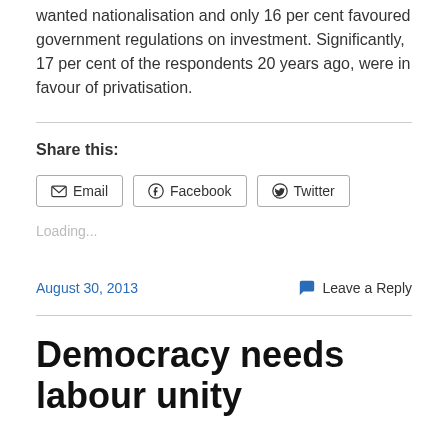wanted nationalisation and only 16 per cent favoured government regulations on investment. Significantly, 17 per cent of the respondents 20 years ago, were in favour of privatisation.
Share this:
Email | Facebook | Twitter
Loading...
August 30, 2013   Leave a Reply
Democracy needs labour unity